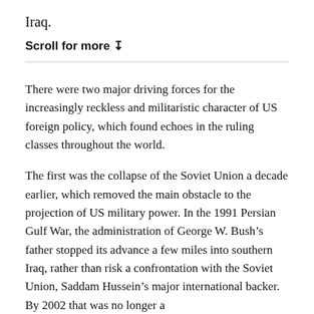Iraq.
Scroll for more ↧
There were two major driving forces for the increasingly reckless and militaristic character of US foreign policy, which found echoes in the ruling classes throughout the world.
The first was the collapse of the Soviet Union a decade earlier, which removed the main obstacle to the projection of US military power. In the 1991 Persian Gulf War, the administration of George W. Bush's father stopped its advance a few miles into southern Iraq, rather than risk a confrontation with the Soviet Union, Saddam Hussein's major international backer. By 2002 that was no longer a